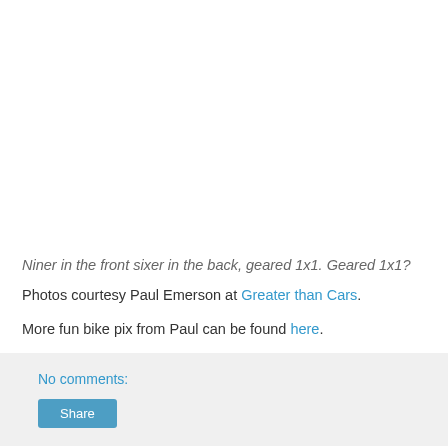Niner in the front sixer in the back, geared 1x1. Geared 1x1?
Photos courtesy Paul Emerson at Greater than Cars.
More fun bike pix from Paul can be found here.
No comments: